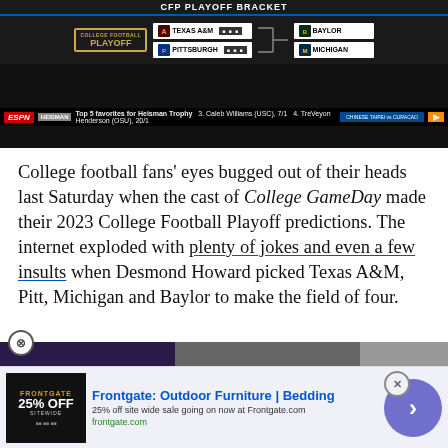[Figure (screenshot): ESPN College Football Playoff bracket showing Texas A&M, Pittsburgh, Baylor, Michigan with ESPN Heisman ticker bar]
College football fans' eyes bugged out of their heads last Saturday when the cast of College GameDay made their 2023 College Football Playoff predictions. The internet exploded with plenty of jokes and even a few insults when Desmond Howard picked Texas A&M, Pitt, Michigan and Baylor to make the field of four.
[Figure (screenshot): Media Noise podcast overlay with BSM logo and podcast circle logo, partially covering article text about David Pollack saying he was surprised when graphic showing appeared on screen]
how, David Pollack said he se when the graphic showing e on screen.
[Figure (screenshot): Advertisement for Frontgate: Outdoor Furniture | Bedding - 25% off site wide sale going on now at Frontgate.com]